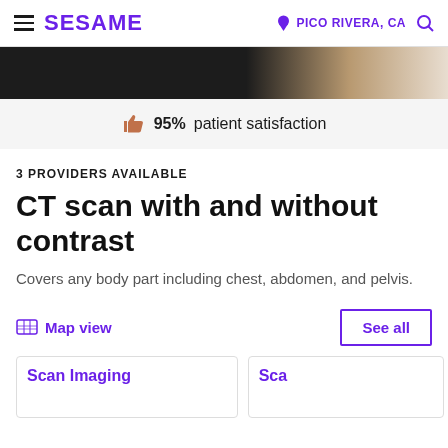SESAME  PICO RIVERA, CA
[Figure (photo): Partial photo of a healthcare professional in background]
95% patient satisfaction
3 PROVIDERS AVAILABLE
CT scan with and without contrast
Covers any body part including chest, abdomen, and pelvis.
Map view
See all
Scan Imaging